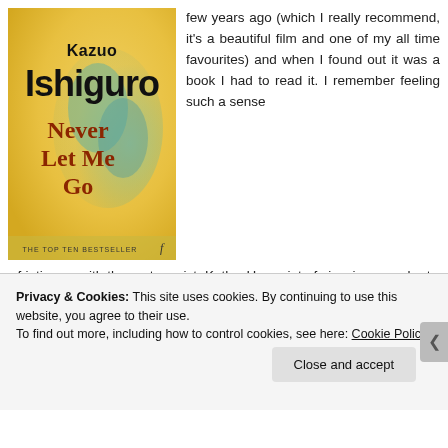[Figure (photo): Book cover of 'Never Let Me Go' by Kazuo Ishiguro, showing 'THE TOP TEN BESTSELLER' at the bottom, published by Faber (indicated by 'f' logo). The cover has a yellow and blue-green blurred background with the author name in black and book title in dark red/brown.]
few years ago (which I really recommend, it's a beautiful film and one of my all time favourites) and when I found out it was a book I had to read it. I remember feeling such a sense of intimacy with the protagonist, Kathy. Her point of view is a wonder to read from and the way she
Privacy & Cookies: This site uses cookies. By continuing to use this website, you agree to their use.
To find out more, including how to control cookies, see here: Cookie Policy